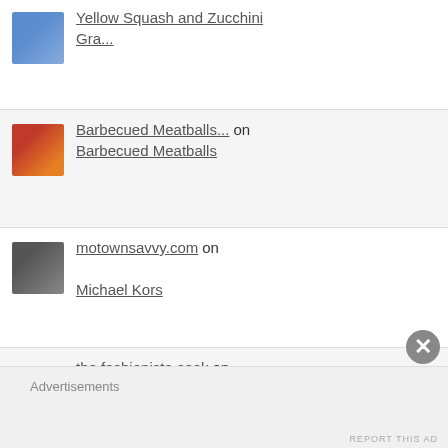Yellow Squash and Zucchini Gra...
Barbecued Meatballs... on Barbecued Meatballs
motownsavvy.com on Michael Kors
the fashionista cook on Layered Beef, Cabbage, and Pot...
PAGES
Advertisements
REPORT THIS AD